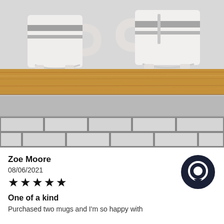[Figure (photo): Photo of two ceramic mugs with grey stripe pattern sitting on a wooden shelf above a grey counter and white subway tile backsplash]
Zoe Moore
08/06/2021
★★★★★
One of a kind
Purchased two mugs and I'm so happy with